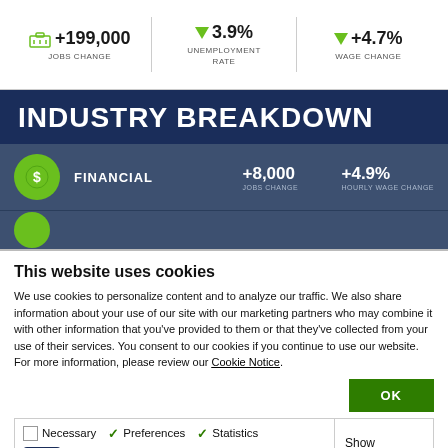[Figure (infographic): Jobs report stats bar showing +199,000 Jobs Change, 3.9% Unemployment Rate (down arrow), +4.7% Wage Change (down arrow)]
INDUSTRY BREAKDOWN
[Figure (infographic): Financial industry row showing +8,000 Jobs Change and +4.9% Hourly Wage Change with green circle icon]
This website uses cookies
We use cookies to personalize content and to analyze our traffic. We also share information about your use of our site with our marketing partners who may combine it with other information that you've provided to them or that they've collected from your use of their services. You consent to our cookies if you continue to use our website. For more information, please review our Cookie Notice.
OK
Necessary  Preferences  Statistics  Marketing  Show details